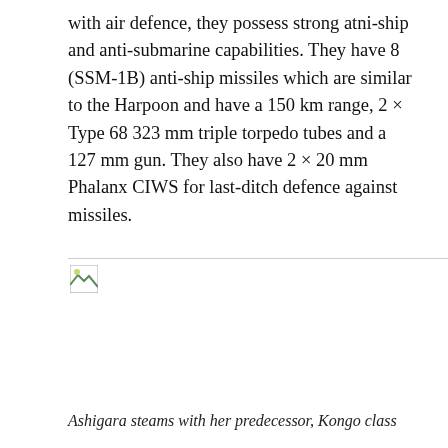with air defence, they possess strong atni-ship and anti-submarine capabilities. They have 8  (SSM-1B) anti-ship missiles which are similar to the Harpoon and have a 150 km range, 2 × Type 68 323 mm triple torpedo tubes and a 127 mm gun. They also have 2 × 20 mm Phalanx CIWS for last-ditch defence against missiles.
[Figure (photo): Broken image placeholder — photograph of Ashigara steaming with her predecessor, Kongo class]
Ashigara steams with her predecessor, Kongo class